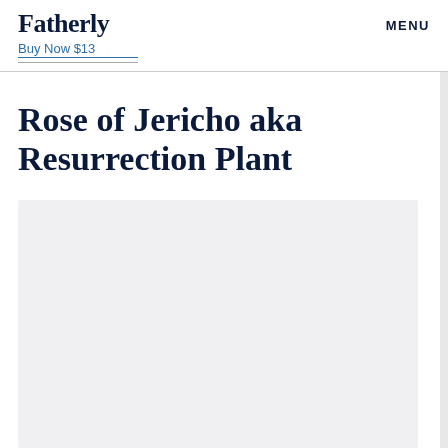Fatherly
Buy Now $13
MENU
Rose of Jericho aka Resurrection Plant
[Figure (photo): Large light gray image placeholder area for a photo of the Rose of Jericho / Resurrection Plant]